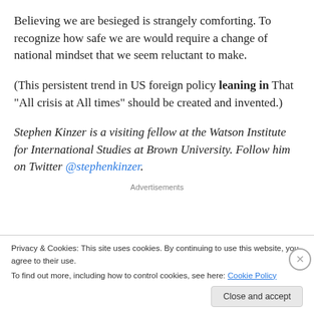Believing we are besieged is strangely comforting. To recognize how safe we are would require a change of national mindset that we seem reluctant to make.
(This persistent trend in US foreign policy leaning in That “All crisis at All times” should be created and invented.)
Stephen Kinzer is a visiting fellow at the Watson Institute for International Studies at Brown University. Follow him on Twitter @stephenkinzer.
Advertisements
Privacy & Cookies: This site uses cookies. By continuing to use this website, you agree to their use.
To find out more, including how to control cookies, see here: Cookie Policy
Close and accept